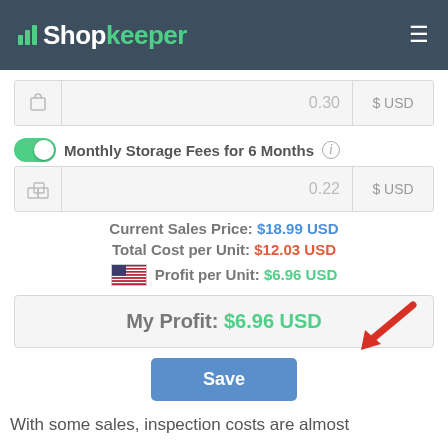Shopkeeper
| Icon | Value | Currency |
| --- | --- | --- |
| [box icon] | 0.30 | $ USD |
Monthly Storage Fees for 6 Months
| Icon | Value | Currency |
| --- | --- | --- |
| [cubes icon] | 0.22 | $ USD |
Current Sales Price: $18.99 USD
Total Cost per Unit: $12.03 USD
Profit per Unit: $6.96 USD
My Profit: $6.96 USD
Save
With some sales, inspection costs are almost